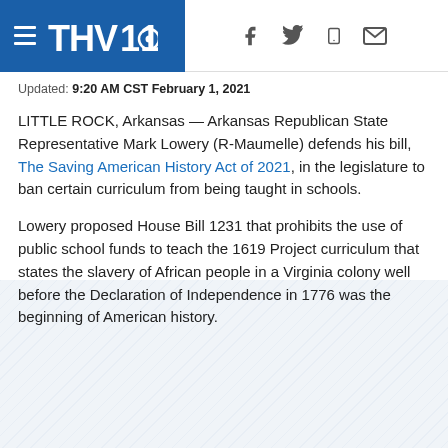THV11 [CBS logo] — navigation header with social icons (Facebook, Twitter, mobile, email)
Updated: 9:20 AM CST February 1, 2021
LITTLE ROCK, Arkansas — Arkansas Republican State Representative Mark Lowery (R-Maumelle) defends his bill, The Saving American History Act of 2021, in the legislature to ban certain curriculum from being taught in schools.
Lowery proposed House Bill 1231 that prohibits the use of public school funds to teach the 1619 Project curriculum that states the slavery of African people in a Virginia colony well before the Declaration of Independence in 1776 was the beginning of American history.